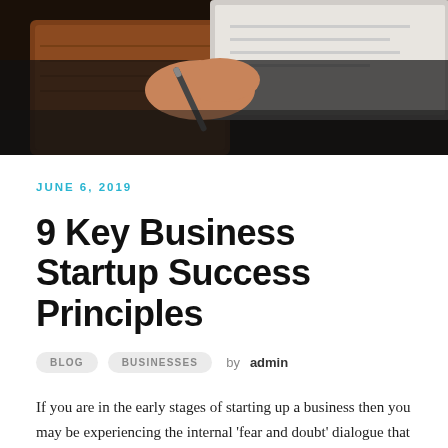[Figure (photo): Close-up photo of a person's hand holding a pen over a clipboard or notebook, wearing dark clothing, on a dark background]
JUNE 6, 2019
9 Key Business Startup Success Principles
BLOG   BUSINESSES   by admin
If you are in the early stages of starting up a business then you may be experiencing the internal 'fear and doubt' dialogue that can often take place in one's mind. The following 9 Principles will help to